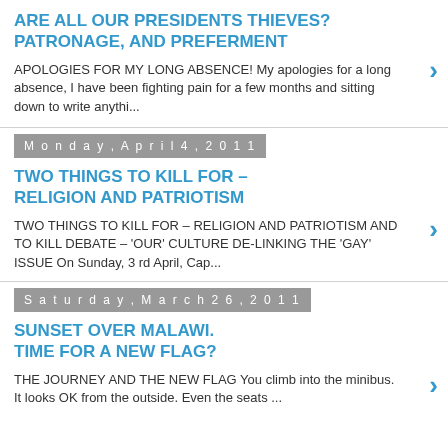ARE ALL OUR PRESIDENTS THIEVES? PATRONAGE, AND PREFERMENT
APOLOGIES FOR MY LONG ABSENCE! My apologies for a long absence, I have been fighting pain for a few months and sitting down to write anythi...
Monday, April 4, 2011
TWO THINGS TO KILL FOR – RELIGION AND PATRIOTISM
TWO THINGS TO KILL FOR – RELIGION AND PATRIOTISM AND TO KILL DEBATE – 'OUR' CULTURE DE-LINKING THE 'GAY' ISSUE On Sunday, 3 rd April, Cap...
Saturday, March 26, 2011
SUNSET OVER MALAWI. TIME FOR A NEW FLAG?
THE JOURNEY AND THE NEW FLAG You climb into the minibus. It looks OK from the outside. Even the seats ...